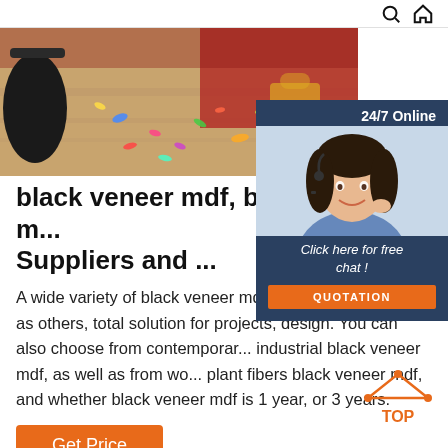Search and Home icons
[Figure (photo): Hero banner photo showing colorful confetti on a wooden floor with festive red background]
[Figure (photo): 24/7 Online chat widget with a female customer service agent wearing a headset, Click here for free chat button, and QUOTATION button]
black veneer mdf, black veneer m... Suppliers and ...
A wide variety of black veneer mdf options are you, such as others, total solution for projects, design. You can also choose from contemporar... industrial black veneer mdf, as well as from wo... plant fibers black veneer mdf, and whether black veneer mdf is 1 year, or 3 years.
Get Price
[Figure (logo): TOP back-to-top button with orange triangle/dots icon and orange TOP text]